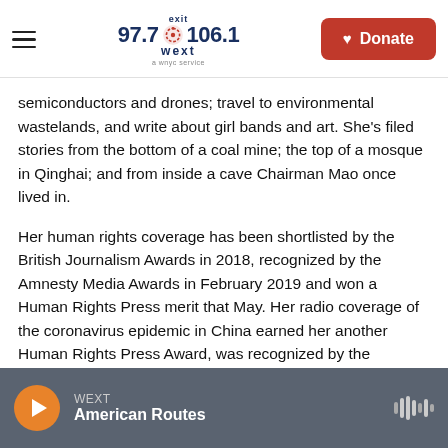exit 97.7 106.1 WEXT — Donate
semiconductors and drones; travel to environmental wastelands, and write about girl bands and art. She's filed stories from the bottom of a coal mine; the top of a mosque in Qinghai; and from inside a cave Chairman Mao once lived in.
Her human rights coverage has been shortlisted by the British Journalism Awards in 2018, recognized by the Amnesty Media Awards in February 2019 and won a Human Rights Press merit that May. Her radio coverage of the coronavirus epidemic in China earned her another Human Rights Press Award, was recognized by the National Headliners Award, and won a Gracie Award. She was also named a Livingston Award finalist in 2021.
WEXT — American Routes